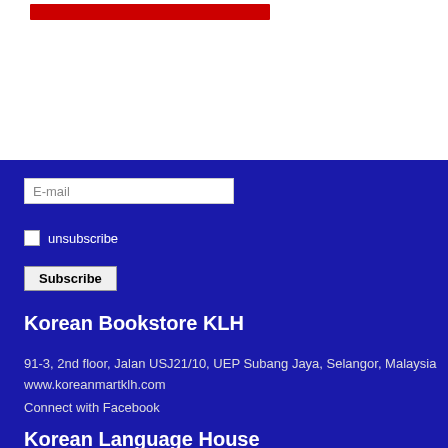[Figure (other): Red horizontal banner/bar at top of page]
E-mail
unsubscribe
Subscribe
Korean Bookstore KLH
91-3, 2nd floor, Jalan USJ21/10, UEP Subang Jaya, Selangor, Malaysia
www.koreanmartklh.com
Connect with Facebook
Korean Language House
Pusat Bahasa Asia Timur
Oriental Language Education Sdn Bhd (974035-A)
[Figure (illustration): UK flag icon and Equatorial Guinea flag icon with English language selector]